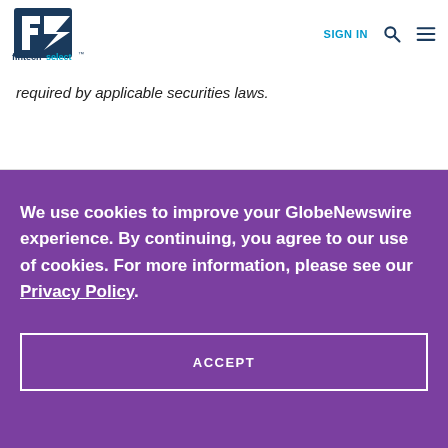[Figure (logo): Fintech Select logo — stylized F/S letters in dark blue with 'fintechselect' text and trademark symbol]
SIGN IN  🔍  ☰
required by applicable securities laws.
We use cookies to improve your GlobeNewswire experience. By continuing, you agree to our use of cookies. For more information, please see our Privacy Policy.
ACCEPT